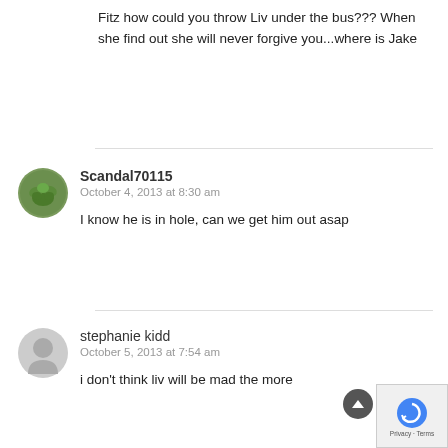Fitz how could you throw Liv under the bus??? When she find out she will never forgive you...where is Jake
Scandal70115
October 4, 2013 at 8:30 am
I know he is in hole, can we get him out asap
stephanie kidd
October 5, 2013 at 7:54 am
i don't think liv will be mad the more...